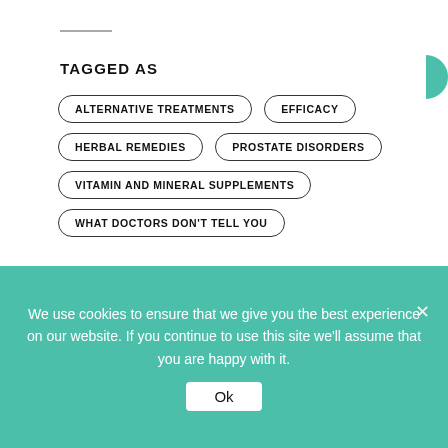TAGGED AS
ALTERNATIVE TREATMENTS
EFFICACY
HERBAL REMEDIES
PROSTATE DISORDERS
VITAMIN AND MINERAL SUPPLEMENTS
WHAT DOCTORS DON'T TELL YOU
Related articles
[Figure (photo): Article thumbnail image with sky and clouds, showing date badge AUG 26]
We use cookies to ensure that we give you the best experience on our website. If you continue to use this site we'll assume that you are happy with it.
Ok